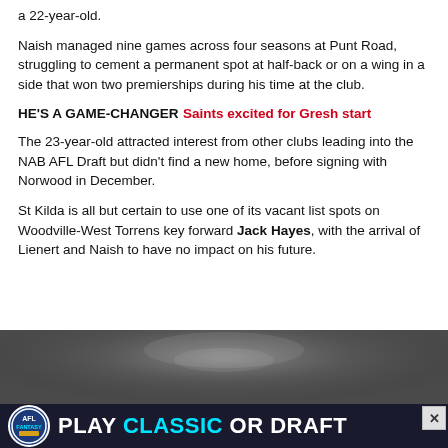a 22-year-old.
Naish managed nine games across four seasons at Punt Road, struggling to cement a permanent spot at half-back or on a wing in a side that won two premierships during his time at the club.
HE'S A GAME-CHANGER Saints excited for Gresh start
The 23-year-old attracted interest from other clubs leading into the NAB AFL Draft but didn't find a new home, before signing with Norwood in December.
St Kilda is all but certain to use one of its vacant list spots on Woodville-West Torrens key forward Jack Hayes, with the arrival of Lienert and Naish to have no impact on his future.
[Figure (photo): Dark blurred sports photo with an advertisement banner overlay reading 'PLAY CLASSIC OR DRAFT' with AFL Fantasy logo]